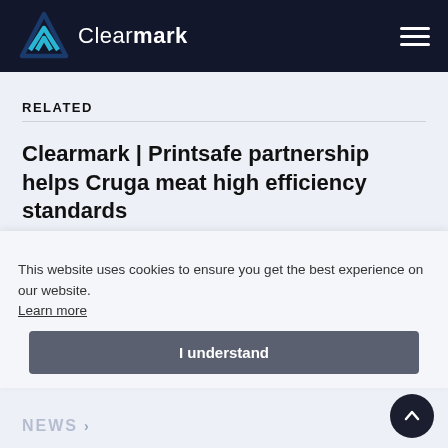[Figure (logo): Clearmark logo with mountain/M icon in blue on dark navy header bar]
RELATED
Clearmark | Printsafe partnership helps Cruga meat high efficiency standards
Read full article
This website uses cookies to ensure you get the best experience on our website. Learn more
I understand
MORE RESOURCES
NEWS ›